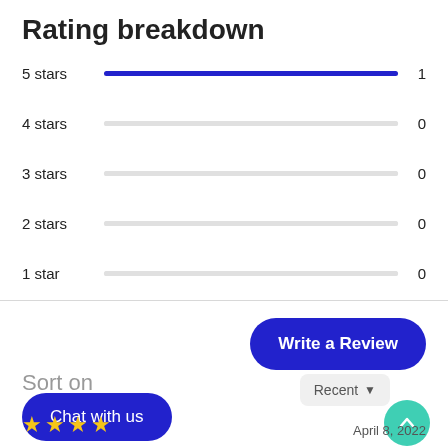Rating breakdown
[Figure (bar-chart): Rating breakdown]
Write a Review
Sort on
Recent
Chat with us
April 8, 2022